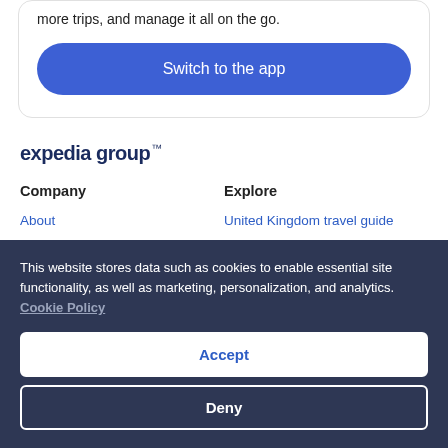more trips, and manage it all on the go.
Switch to the app
[Figure (logo): Expedia group logo in dark navy blue text]
Company
Explore
About
United Kingdom travel guide
Jobs
Hotels in United Kingdom
This website stores data such as cookies to enable essential site functionality, as well as marketing, personalization, and analytics. Cookie Policy
Accept
Deny